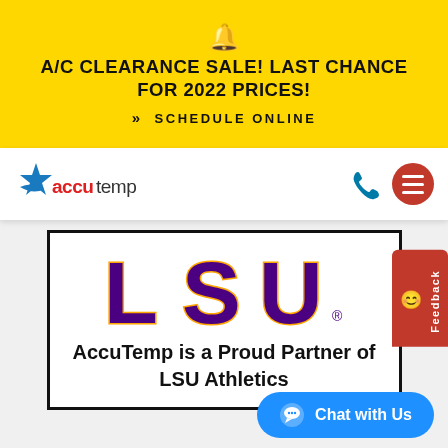A/C CLEARANCE SALE! LAST CHANCE FOR 2022 PRICES!
>> SCHEDULE ONLINE
[Figure (logo): AccuTemp logo with blue star and red text]
[Figure (logo): LSU Athletics logo with purple and gold lettering]
AccuTemp is a Proud Partner of LSU Athletics
Chat with Us